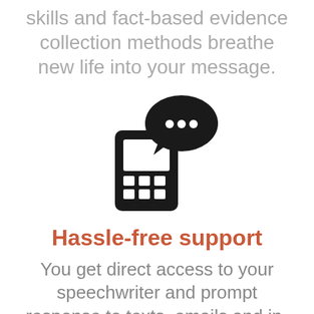skills and fact-based evidence collection methods breathe new life into your message.
[Figure (illustration): Icon of a mobile/cell phone with a speech bubble containing three dots, representing messaging or communication support.]
Hassle-free support
You get direct access to your speechwriter and prompt response to texts, emails and in-office meeting requests. Plus we